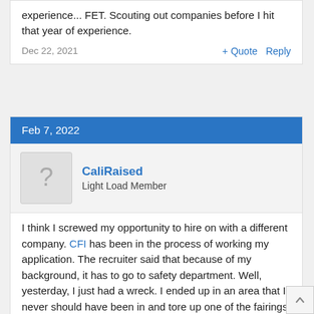experience... FET. Scouting out companies before I hit that year of experience.
Dec 22, 2021
+ Quote  Reply
Feb 7, 2022
CaliRaised
Light Load Member
I think I screwed my opportunity to hire on with a different company. CFI has been in the process of working my application. The recruiter said that because of my background, it has to go to safety department. Well, yesterday, I just had a wreck. I ended up in an area that I never should have been in and tore up one of the fairings on the trailer. I did some landscaping damage. In the process, I got the axle of the trailer stuck on a boulder of ice. That required a tow truck to get the trailer off of it. There was damage done to the brake system of